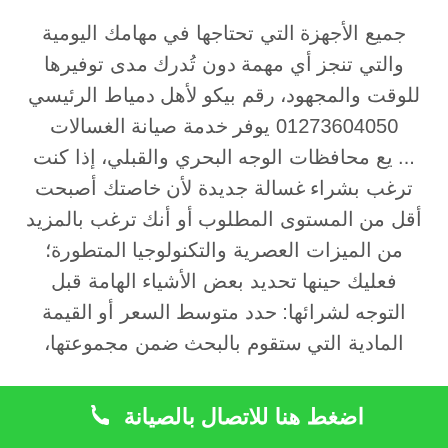جميع الأجهزة التي تحتاجها في مهامك اليومية والتي تنجز أي مهمة دون تُدرك مدى توفيرها للوقت والمجهود، رقم بيكو لأهل دمياط الرئيسي 01273604050 يوفر خدمة صيانة الغسالات ... يع محافظات الوجه البحري والقبلي، إذا كنت ترغب بشراء غسالة جديدة لأن خاصتك أصبحت أقل من المستوى المطلوب أو أنك ترغب بالمزيد من الميزات العصرية والتكنولوجيا المتطورة؛ فعليك حينها تحديد بعض الأشياء الهامة قبل التوجه لشرائها: حدد متوسط السعر أو القيمة المادية التي ستقوم بالبحث ضمن مجموعتها،
اضغط هنا للاتصال بالصيانة